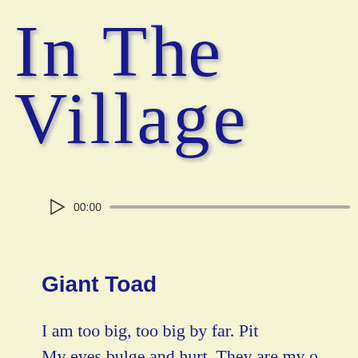In The Village
[Figure (other): Audio player widget with play button, time display 00:00, and progress bar track]
Giant Toad
I am too big, too big by far. Pit
My eyes bulge and hurt. They are my o